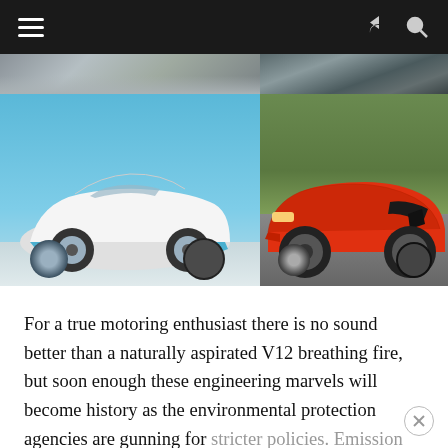Navigation bar with hamburger menu, share, and search icons
[Figure (photo): Two-column image grid: top-left shows partial car/dark background, top-right shows dark road/blurred background, bottom-left shows white Bugatti Veyron Grand Sport against blue sky, bottom-right shows orange Lamborghini Aventador on a racetrack]
For a true motoring enthusiast there is no sound better than a naturally aspirated V12 breathing fire, but soon enough these engineering marvels will become history as the environmental protection agencies are gunning for stricter policies. Emission control authorities are systematically forcing the automakers to phase out big